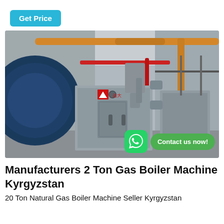Get Price
[Figure (photo): Industrial boiler room showing large cylindrical gas boilers with stainless steel casings, orange and red piping overhead, and a WhatsApp icon with 'Contact us now!' overlay button in the bottom right corner.]
Manufacturers 2 Ton Gas Boiler Machine Kyrgyzstan
20 Ton Natural Gas Boiler Machine Seller Kyrgyzstan